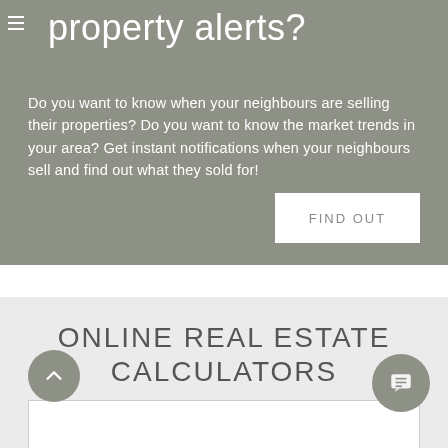property alerts?
Do you want to know when your neighbours are selling their properties? Do you want to know the market trends in your area? Get instant notifications when your neighbours sell and find out what they sold for!
FIND OUT
ONLINE REAL ESTATE CALCULATORS